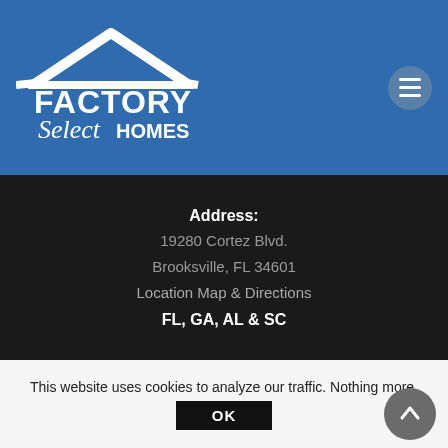[Figure (logo): Factory Select Homes logo - white roofline graphic above bold white text FACTORY and cursive Select below, then HOMES. Located in blue header bar top-left.]
[Figure (logo): Hamburger menu icon (three horizontal white lines) inside a circular grey button, top-right of blue header bar.]
Address:
19280 Cortez Blvd.
Brooksville, FL 34601
Location Map & Directions
FL, GA, AL & SC
[Figure (logo): Factory Select Homes logo - large version centered on blue footer band. White roofline graphic, bold white FACTORY, cursive Select, then HOMES.]
This website uses cookies to analyze our traffic. Nothing more.
OK